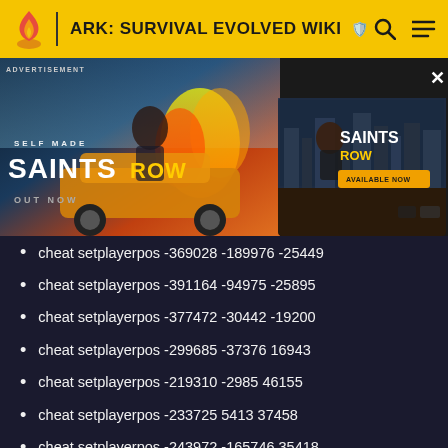ARK: SURVIVAL EVOLVED WIKI
[Figure (photo): Saints Row video game advertisement banner showing game characters, cars, explosions, and two Saints Row branded panels with 'Out Now' and 'Available Now' text]
cheat setplayerpos -369028 -189976 -25449
cheat setplayerpos -391164 -94975 -25895
cheat setplayerpos -377472 -30442 -19200
cheat setplayerpos -299685 -37376 16943
cheat setplayerpos -219310 -2985 46155
cheat setplayerpos -233725 5413 37458
cheat setplayerpos -243972 -165746 35418
cheat setplayerpos -322288 -169356 9379
cheat setplayerpos -191188 -249345 -8547